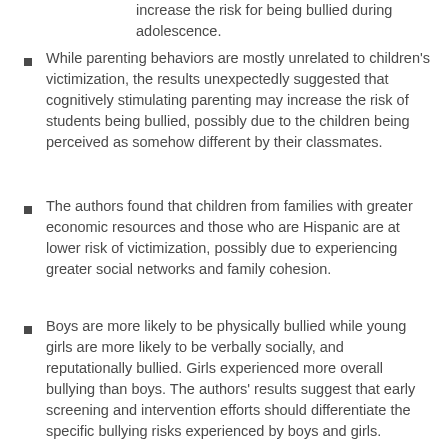increase the risk for being bullied during adolescence.
While parenting behaviors are mostly unrelated to children's victimization, the results unexpectedly suggested that cognitively stimulating parenting may increase the risk of students being bullied, possibly due to the children being perceived as somehow different by their classmates.
The authors found that children from families with greater economic resources and those who are Hispanic are at lower risk of victimization, possibly due to experiencing greater social networks and family cohesion.
Boys are more likely to be physically bullied while young girls are more likely to be verbally socially, and reputationally bullied. Girls experienced more overall bullying than boys. The authors' results suggest that early screening and intervention efforts should differentiate the specific bullying risks experienced by boys and girls.
Boys who are Black or have disabilities are more likely to experience specific types of bullying than girls who are Black or have disabilities.
Overall, children with disabilities were more likely to be bullied